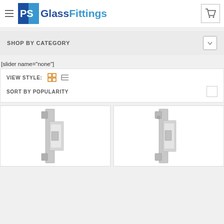[Figure (logo): PS Glass Fittings logo with blue PS box and text]
SHOP BY CATEGORY
[slider name="none"]
VIEW STYLE:
SORT BY POPULARITY
[Figure (photo): Glass door hinge fitting, chrome finish, left product card]
[Figure (photo): Glass door hinge fitting, chrome finish, right product card]